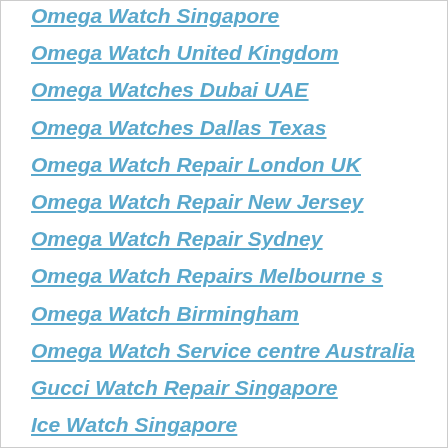Omega Watch Singapore
Omega Watch United Kingdom
Omega Watches Dubai UAE
Omega Watches Dallas Texas
Omega Watch Repair London UK
Omega Watch Repair New Jersey
Omega Watch Repair Sydney
Omega Watch Repairs Melbourne s
Omega Watch Birmingham
Omega Watch Service centre Australia
Gucci Watch Repair Singapore
Ice Watch Singapore
Swiss Watch Repair La Grange Illinois
Watch Repairs USA
Luminox Watches Peoria Illinois